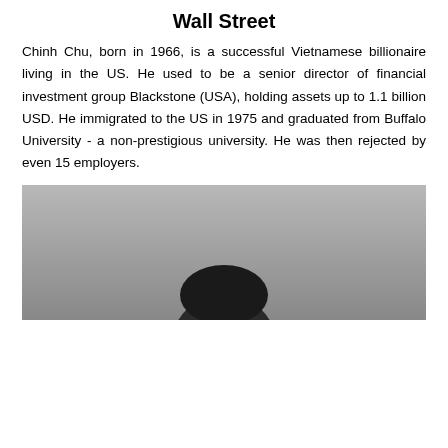Wall Street
Chinh Chu, born in 1966, is a successful Vietnamese billionaire living in the US. He used to be a senior director of financial investment group Blackstone (USA), holding assets up to 1.1 billion USD. He immigrated to the US in 1975 and graduated from Buffalo University - a non-prestigious university. He was then rejected by even 15 employers.
[Figure (photo): Black and white portrait photo of Chinh Chu, showing the top portion of a person with dark hair against a gray background]